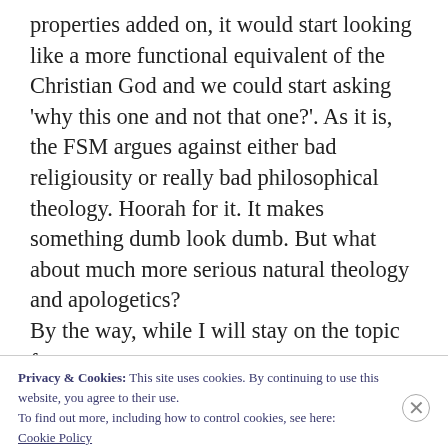properties added on, it would start looking like a more functional equivalent of the Christian God and we could start asking 'why this one and not that one?'. As it is, the FSM argues against either bad religiousity or really bad philosophical theology. Hoorah for it. It makes something dumb look dumb. But what about much more serious natural theology and apologetics?
By the way, while I will stay on the topic for a
Privacy & Cookies: This site uses cookies. By continuing to use this website, you agree to their use.
To find out more, including how to control cookies, see here:
Cookie Policy
Close and accept